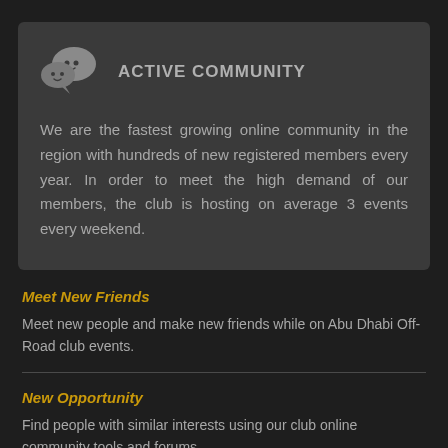[Figure (logo): WeChat-style chat bubble icon with two smiley faces, grey colored]
ACTIVE COMMUNITY
We are the fastest growing online community in the region with hundreds of new registered members every year. In order to meet the high demand of our members, the club is hosting on average 3 events every weekend.
Meet New Friends
Meet new people and make new friends while on Abu Dhabi Off-Road club events.
New Opportunity
Find people with similar interests using our club online community tools and forums.